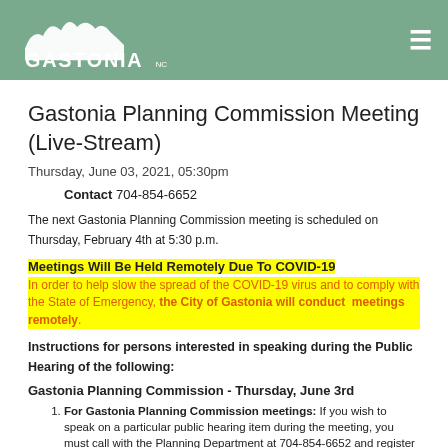Gastonia NC logo and navigation menu
Gastonia Planning Commission Meeting (Live-Stream)
Thursday, June 03, 2021, 05:30pm
Contact 704-854-6652
The next Gastonia Planning Commission meeting is scheduled on Thursday, February 4th at 5:30 p.m.
Meetings Will Be Held Remotely Due To COVID-19
In order to help slow the spread of the COVID-19 virus and to comply with the State of Emergency, the City of Gastonia will conduct meetings remotely.
Instructions for persons interested in speaking during the Public Hearing of the following:
Gastonia Planning Commission - Thursday, June 3rd
For Gastonia Planning Commission meetings: If you wish to speak on a particular public hearing item during the meeting, you must call with the Planning Department at 704-854-6652 and register before noon the day